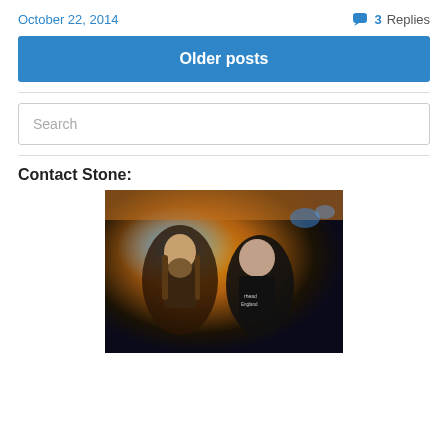October 22, 2014
3 Replies
Older posts
Search
Contact Stone:
[Figure (photo): Two men posing together at what appears to be a concert or bar venue. The man on the left has long hair and a beard with tattoos, the man on the right is wearing a Motörhead England t-shirt.]